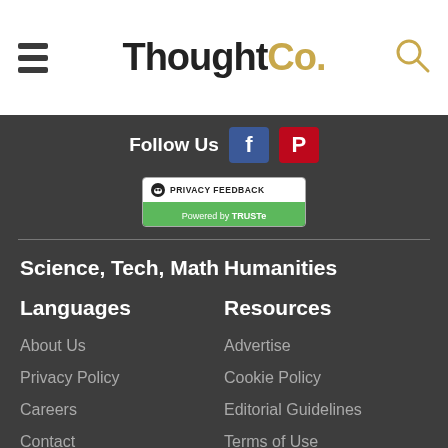ThoughtCo.
Follow Us
[Figure (infographic): Privacy Feedback badge powered by TRUSTe]
Science, Tech, Math
Humanities
Languages
Resources
About Us
Advertise
Privacy Policy
Cookie Policy
Careers
Editorial Guidelines
Contact
Terms of Use
We help people find answers, solve problems and get inspired. Dotdash meredith